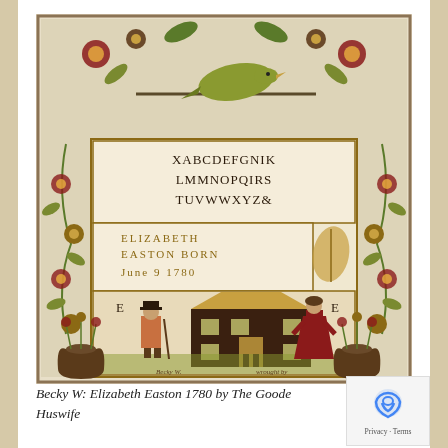[Figure (photo): A cross-stitch embroidery sampler showing floral border with birds, alphabet rows reading XABCDEFGNIK / LMMNOPQIRS / TUVWWXYZ&, name text ELIZABETH EASTON BORN June 9 1780, and a house scene with a man and woman figure flanking a dark brown colonial house with gold roof, decorative urns at bottom corners.]
Becky W: Elizabeth Easton 1780 by The Goode Huswife